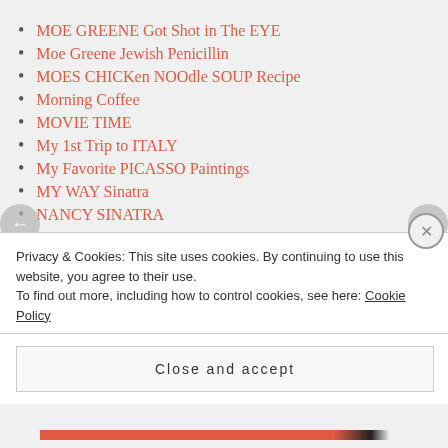MOE GREENE Got Shot in The EYE
Moe Greene Jewish Penicillin
MOES CHICKen NOOdle SOUP Recipe
Morning Coffee
MOVIE TIME
My 1st Trip to ITALY
My Favorite PICASSO Paintings
MY WAY Sinatra
NANCY SINATRA
NATIONAL COFFEE DAY
NEGRONI
New Book by Anthony Bourdain
Privacy & Cookies: This site uses cookies. By continuing to use this website, you agree to their use. To find out more, including how to control cookies, see here: Cookie Policy
Close and accept